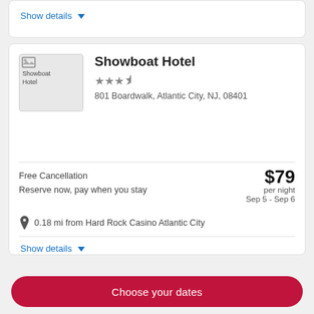Show details ∨
Showboat Hotel
★★★½
801 Boardwalk, Atlantic City, NJ, 08401
Free Cancellation
Reserve now, pay when you stay
$79 per night
Sep 5 - Sep 6
0.18 mi from Hard Rock Casino Atlantic City
Show details ∨
Choose your dates